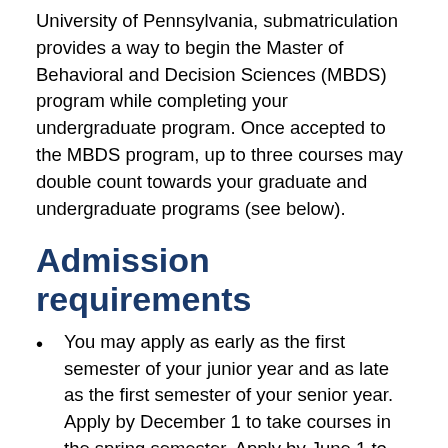University of Pennsylvania, submatriculation provides a way to begin the Master of Behavioral and Decision Sciences (MBDS) program while completing your undergraduate program. Once accepted to the MBDS program, up to three courses may double count towards your graduate and undergraduate programs (see below).
Admission requirements
You may apply as early as the first semester of your junior year and as late as the first semester of your senior year. Apply by December 1 to take courses in the spring semester. Apply by June 1 to start taking courses in the fall semester. Students entering the last semester of their undergraduate career at Penn are not eligible for